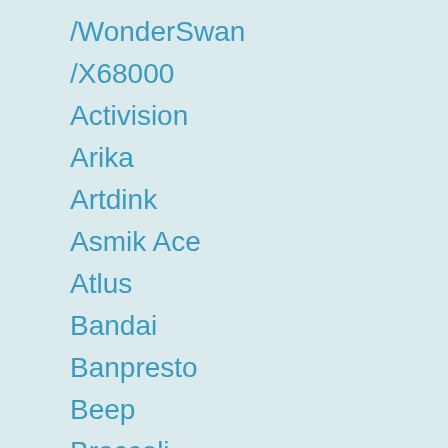/WonderSwan
/X68000
Activision
Arika
Artdink
Asmik Ace
Atlus
Bandai
Banpresto
Beep
Broccoli
Capcom
Columbus Circle
Digital Illusions